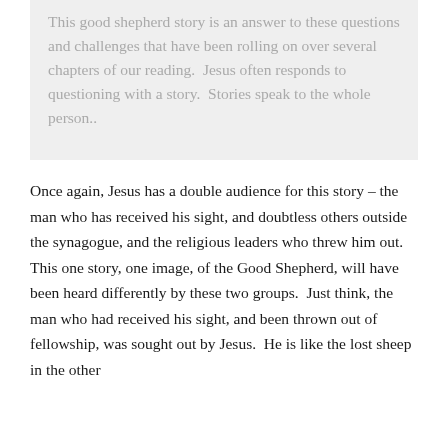This good shepherd story is an answer to these questions and challenges that have been rolling on over several chapters of our reading. Jesus often responds to questioning with a story. Stories speak to the whole person..
Once again, Jesus has a double audience for this story – the man who has received his sight, and doubtless others outside the synagogue, and the religious leaders who threw him out. This one story, one image, of the Good Shepherd, will have been heard differently by these two groups. Just think, the man who had received his sight, and been thrown out of fellowship, was sought out by Jesus. He is like the lost sheep in the other gospel, It is reported to be sure that this is just the Good